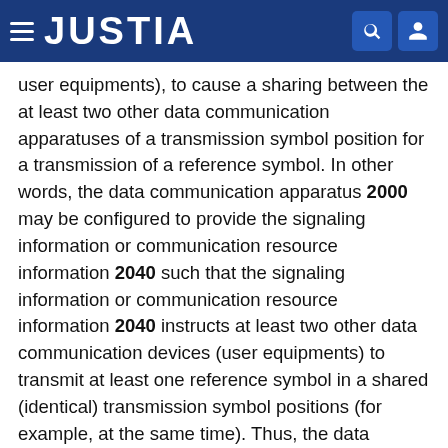JUSTIA
user equipments), to cause a sharing between the at least two other data communication apparatuses of a transmission symbol position for a transmission of a reference symbol. In other words, the data communication apparatus 2000 may be configured to provide the signaling information or communication resource information 2040 such that the signaling information or communication resource information 2040 instructs at least two other data communication devices (user equipments) to transmit at least one reference symbol in a shared (identical) transmission symbol positions (for example, at the same time). Thus, the data communication apparatus 2000 may coordinate a sharing of a transmission symbol position by at least two other data communication apparatuses (for example, user equipments), which results in a substantial saving of physical resources. In this regard